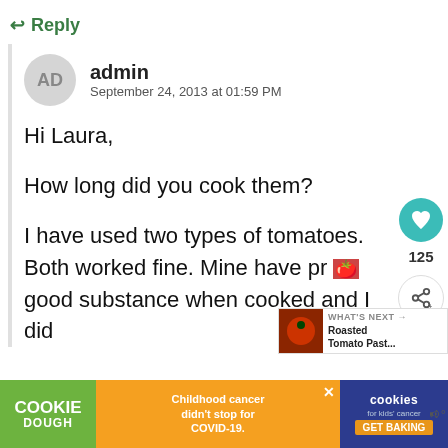↩ Reply
admin
September 24, 2013 at 01:59 PM
Hi Laura,

How long did you cook them?

I have used two types of tomatoes. Both worked fine. Mine have pr... good substance when cooked and I did
[Figure (infographic): Like button (heart icon, teal circle) with count 125, and share button below]
[Figure (screenshot): WHAT'S NEXT → Roasted Tomato Past... promotional card with tomato image]
[Figure (infographic): Cookie Dough ad bar: Childhood cancer didn't stop for COVID-19. GET BAKING. cookies for kids' cancer logo.]